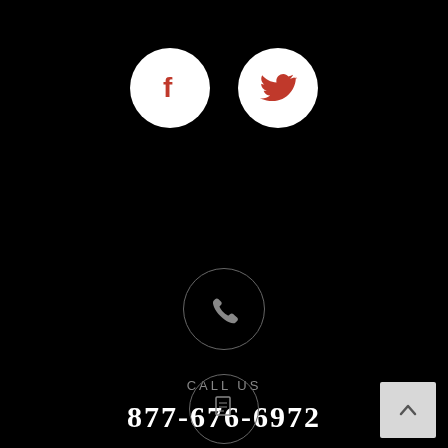[Figure (infographic): Facebook and Twitter social media icons as white circles with red symbols]
[Figure (infographic): Phone handset icon inside a dark circle outline]
CALL US
877-676-6972
[Figure (infographic): Document/page icon inside a dark circle outline]
[Figure (infographic): Back to top button with upward chevron arrow]